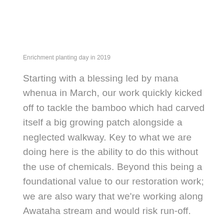Enrichment planting day in 2019
Starting with a blessing led by mana whenua in March, our work quickly kicked off to tackle the bamboo which had carved itself a big growing patch alongside a neglected walkway. Key to what we are doing here is the ability to do this without the use of chemicals. Beyond this being a foundational value to our restoration work; we are also wary that we're working along Awataha stream and would risk run-off.